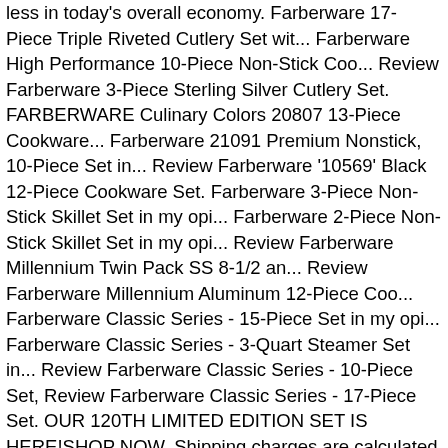less in today's overall economy. Farberware 17-Piece Triple Riveted Cutlery Set wit... Farberware High Performance 10-Piece Non-Stick Coo... Review Farberware 3-Piece Sterling Silver Cutlery Set. FARBERWARE Culinary Colors 20807 13-Piece Cookware... Farberware 21091 Premium Nonstick, 10-Piece Set in... Review Farberware '10569' Black 12-Piece Cookware Set. Farberware 3-Piece Non-Stick Skillet Set in my opi... Farberware 2-Piece Non-Stick Skillet Set in my opi... Review Farberware Millennium Twin Pack SS 8-1/2 an... Review Farberware Millennium Aluminum 12-Piece Coo... Farberware Classic Series - 15-Piece Set in my opi... Farberware Classic Series - 3-Quart Steamer Set in... Review Farberware Classic Series - 10-Piece Set, Review Farberware Classic Series - 17-Piece Set. OUR 120TH LIMITED EDITION SET IS HERE!SHOP NOW. Shipping charges are calculated per total product weight and ship-to address. CONNEXITY "coyote_sc" Farberware. Allow 1 - 2 business day for your order to ship. Jan 24, 2020 - You'll love the Farberware 10 Piece Non-Stick Bakeware Set at Wayfair - Great Deals on all Kitchen & Tabletop products with Free Shipping on most stuff